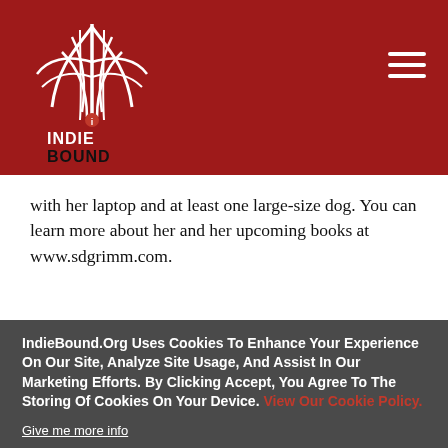[Figure (logo): IndieBound logo — white bird/feather graphic on red background with 'INDIE BOUND' text below in white and black]
with her laptop and at least one large-size dog. You can learn more about her and her upcoming books at www.sdgrimm.com.
IndieBound.Org Uses Cookies To Enhance Your Experience On Our Site, Analyze Site Usage, And Assist In Our Marketing Efforts. By Clicking Accept, You Agree To The Storing Of Cookies On Your Device. View Our Cookie Policy.
Give me more info
Accept all Cookies